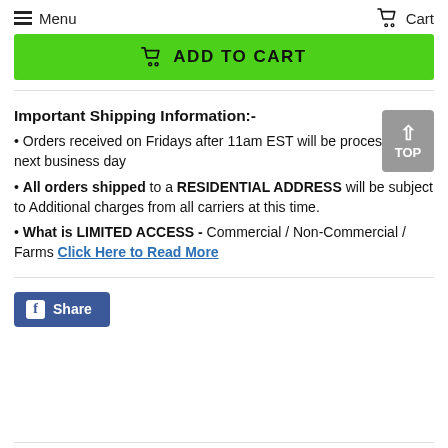Menu  Cart
[cart icon] ADD TO CART
Orders received on Fridays after 11am EST will be processed the next business day
All orders shipped to a RESIDENTIAL ADDRESS will be subject to Additional charges from all carriers at this time.
What is LIMITED ACCESS - Commercial / Non-Commercial / Farms Click Here to Read More
Share